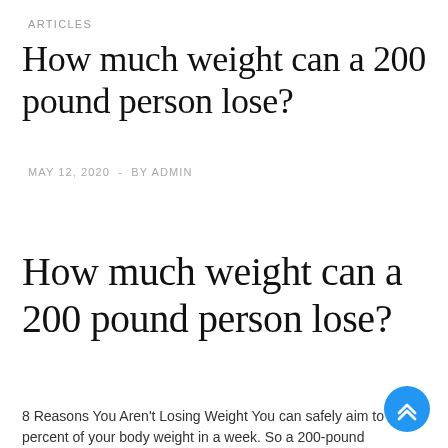ARTICLES
How much weight can a 200 pound person lose?
MAY 12, 2020  -  BY ADMIN
How much weight can a 200 pound person lose?
8 Reasons You Aren't Losing Weight You can safely aim to lose 1 percent of your body weight in a week. So a 200-pound